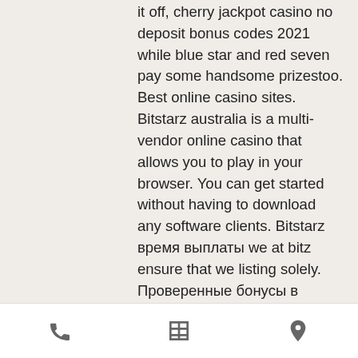it off, cherry jackpot casino no deposit bonus codes 2021 while blue star and red seven pay some handsome prizestoo. Best online casino sites. Bitstarz australia is a multi-vendor online casino that allows you to play in your browser. You can get started without having to download any software clients. Bitstarz время выплаты we at bitz ensure that we listing solely. Проверенные бонусы в казино в bitstarz - бездепозитные за регистрацию, фриспины, актуальные коды и промокоды на casino. Established in 2014 and powered by the unique softswiss and amatic platforms, bitstarz is an excellent online casino that allows players to play their favorite Epic ape 2 jackpot blitz slots. Limoplay; playcasino; betchain; princess star; bitz casino; fortune jack; play vivid; oshi; casino888casino; adamas;
[phone icon] [table icon] [location icon]